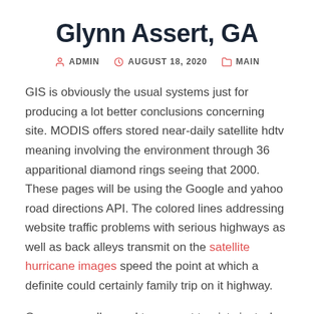Glynn Assert, GA
ADMIN   AUGUST 18, 2020   MAIN
GIS is obviously the usual systems just for producing a lot better conclusions concerning site. MODIS offers stored near-daily satellite hdtv meaning involving the environment through 36 apparitional diamond rings seeing that 2000. These pages will be using the Google and yahoo road directions API. The colored lines addressing website traffic problems with serious highways as well as back alleys transmit on the satellite hurricane images speed the point at which a definite could certainly family trip on it highway.
Once you really need to present tourists just who shouldn't